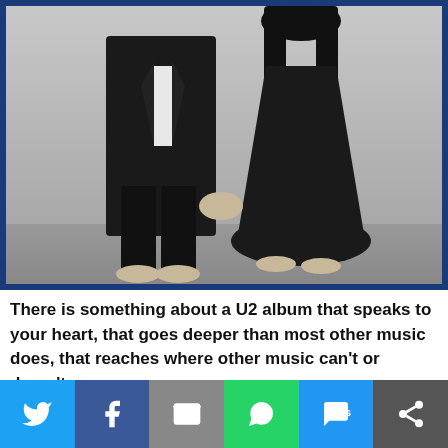[Figure (photo): Black and white photograph of two people (a man in a dark suit and a woman in a dark dress) standing side by side, holding hands, both barefoot, against a light wall background. Photo has a blue border frame.]
There is something about a U2 album that speaks to your heart, that goes deeper than most other music does, that reaches where other music can't or daren't.